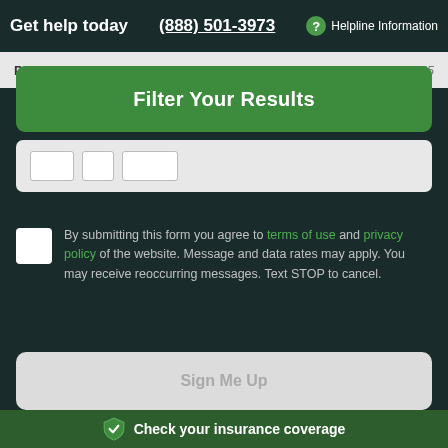Get help today  (888) 501-3973  ? Helpline Information
Phone Number*  (555) 555-5555
Filter Your Results
By submitting this form you agree to terms of use and privacy policy of the website. Message and data rates may apply. You may receive reoccurring messages. Text STOP to cancel.
Sign Me Up
Disclaimer
[Figure (logo): HIPAA logo/seal]
Check your insurance coverage